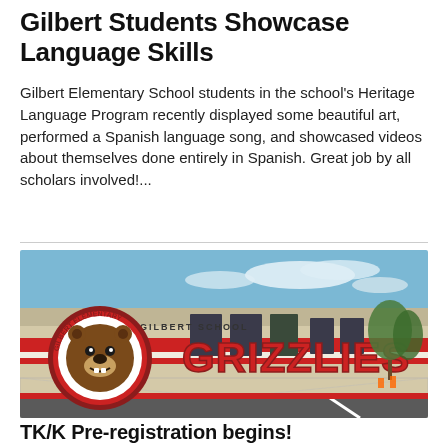Gilbert Students Showcase Language Skills
Gilbert Elementary School students in the school's Heritage Language Program recently displayed some beautiful art, performed a Spanish language song, and showcased videos about themselves done entirely in Spanish. Great job by all scholars involved!...
[Figure (photo): Exterior photo of Gilbert Elementary School building showing the school mascot logo (a grizzly bear) with 'Gilbert Elementary' text in a circular badge, and the word 'GRIZZLIES' painted in large red letters on the white building wall. The sign on the building reads 'GILBERT SCHOOL'.]
TK/K Pre-registration begins!